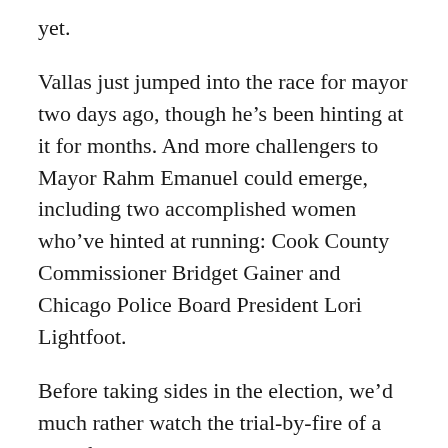yet.
Vallas just jumped into the race for mayor two days ago, though he’s been hinting at it for months. And more challengers to Mayor Rahm Emanuel could emerge, including two accomplished women who’ve hinted at running: Cook County Commissioner Bridget Gainer and Chicago Police Board President Lori Lightfoot.
Before taking sides in the election, we’d much rather watch the trial-by-fire of a hard-fought race. Everybody in town will have a better idea then of who has best mix of credentials and temperament for the job.
Yet the Tribune has a definite crush on Vallas at this early stage. It gushed all over his “big, and appealing